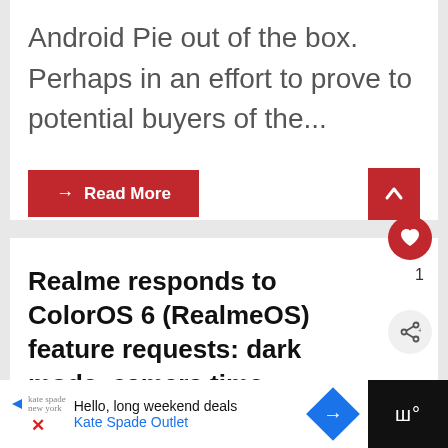Android Pie out of the box. Perhaps in an effort to prove to potential buyers of the...
→ Read More
Realme responds to ColorOS 6 (RealmeOS) feature requests: dark mode, camera time watermark, status bar icon optimization, &
[Figure (screenshot): Advertisement bar at the bottom: Kate Spade Outlet ad with play button, logo, headline 'Hello, long weekend deals', blue diamond arrow icon, and dark right panel with stylized text logo]
Hello, long weekend deals Kate Spade Outlet